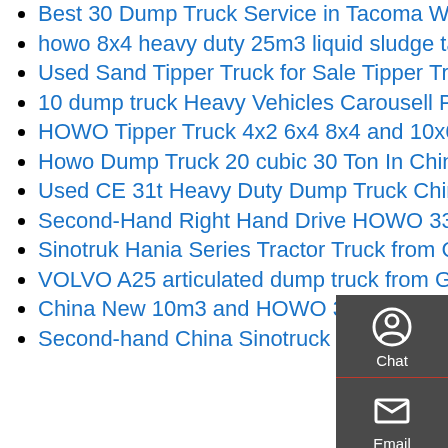Best 30 Dump Truck Service in Tacoma WA with Reviews
howo 8x4 heavy duty 25m3 liquid sludge tank transport truck
Used Sand Tipper Truck for Sale Tipper Truck for Africa 16M3
10 dump truck Heavy Vehicles Carousell Philippines
HOWO Tipper Truck 4x2 6x4 8x4 and 10x6 with Engine Power Is
Howo Dump Truck 20 cubic 30 Ton In China
Used CE 31t Heavy Duty Dump Truck China Used Dump Truck
Second-Hand Right Hand Drive HOWO 336 HP 20 Ton Dump Truck 6X4
Sinotruk Hania Series Tractor Truck from China Manufacturer
VOLVO A25 articulated dump truck from Germany used
China New 10m3 and HOWO 371HP Small Dump Truck for Sale
Second-hand China Sinotruck HOWO 6X4 371HP Sand Dump Dumper Truck